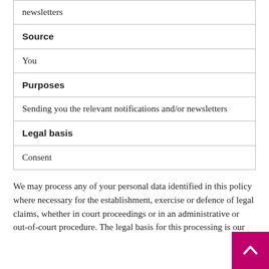| newsletters |
| Source |
| You |
| Purposes |
| Sending you the relevant notifications and/or newsletters |
| Legal basis |
| Consent |
We may process any of your personal data identified in this policy where necessary for the establishment, exercise or defence of legal claims, whether in court proceedings or in an administrative or out-of-court procedure. The legal basis for this processing is our